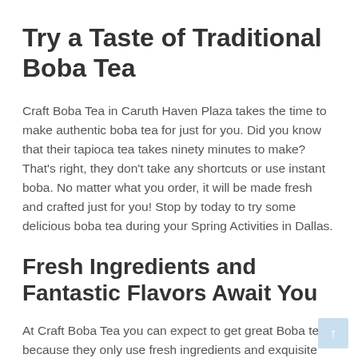Try a Taste of Traditional Boba Tea
Craft Boba Tea in Caruth Haven Plaza takes the time to make authentic boba tea for just for you. Did you know that their tapioca tea takes ninety minutes to make? That's right, they don't take any shortcuts or use instant boba. No matter what you order, it will be made fresh and crafted just for you! Stop by today to try some delicious boba tea during your Spring Activities in Dallas.
Fresh Ingredients and Fantastic Flavors Await You
At Craft Boba Tea you can expect to get great Boba tea because they only use fresh ingredients and exquisite flavors. Tea alone is refreshing and healthy, but once